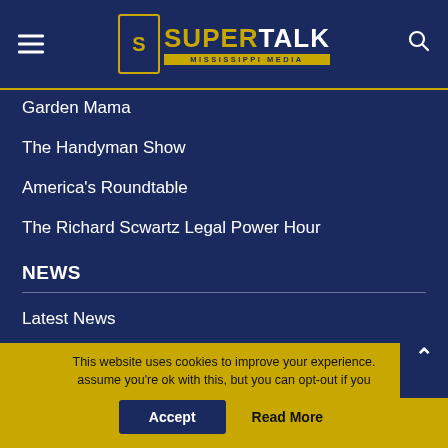SuperTalk Mississippi Media
Garden Mama
The Handyman Show
America's Roundtable
The Richard Scwartz Legal Power Hour
NEWS
Latest News
Politics
Sports
Agriculture
Lifestyle
This website uses cookies to improve your experience. assume you're ok with this, but you can opt-out if you
Accept   Read More